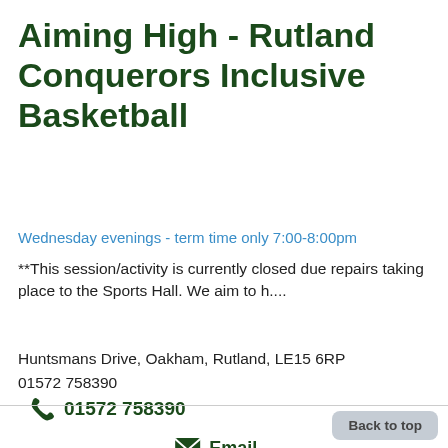Aiming High - Rutland Conquerors Inclusive Basketball
Wednesday evenings - term time only 7:00-8:00pm
**This session/activity is currently closed due repairs taking place to the Sports Hall. We aim to h....
Huntsmans Drive, Oakham, Rutland, LE15 6RP
01572 758390
01572 758390
Email
Website
Add to My List